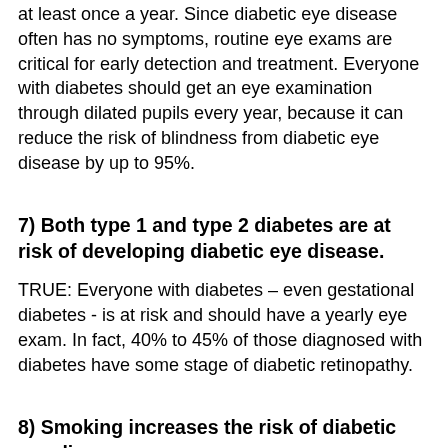at least once a year. Since diabetic eye disease often has no symptoms, routine eye exams are critical for early detection and treatment. Everyone with diabetes should get an eye examination through dilated pupils every year, because it can reduce the risk of blindness from diabetic eye disease by up to 95%.
7) Both type 1 and type 2 diabetes are at risk of developing diabetic eye disease.
TRUE: Everyone with diabetes – even gestational diabetes - is at risk and should have a yearly eye exam. In fact, 40% to 45% of those diagnosed with diabetes have some stage of diabetic retinopathy.
8) Smoking increases the risk of diabetic eye disease.
TRUE: In addition to getting regular eye exams, stop smoking, partake in daily physical activity